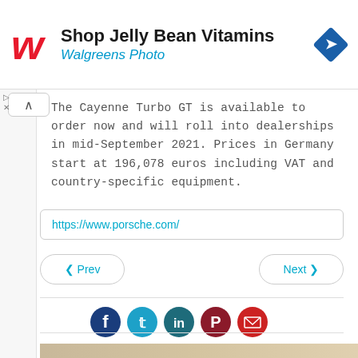[Figure (screenshot): Walgreens advertisement banner with red cursive W logo, text 'Shop Jelly Bean Vitamins' and 'Walgreens Photo' in blue italic, and a blue diamond navigation arrow icon on the right]
The Cayenne Turbo GT is available to order now and will roll into dealerships in mid-September 2021. Prices in Germany start at 196,078 euros including VAT and country-specific equipment.
https://www.porsche.com/
< Prev
Next >
[Figure (infographic): Row of five social media share icons: Facebook (dark blue), Twitter (light blue), LinkedIn (dark teal), Pinterest (dark red), Email (red)]
[Figure (photo): Bottom edge of a tan/beige colored image, partially visible]